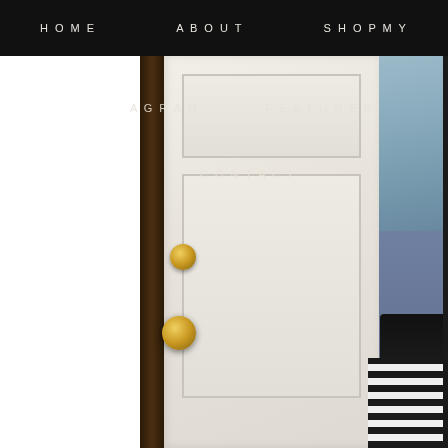HOME   ABOUT   SHOP MY
[Figure (photo): A person's hand gripping a brass door knob on a white interior door, viewed from a tilted angle showing the door frame, ceiling with blue-grey wall, and the person wearing black top and striped garment.]
AGRAM   FEATURES
CONTACT